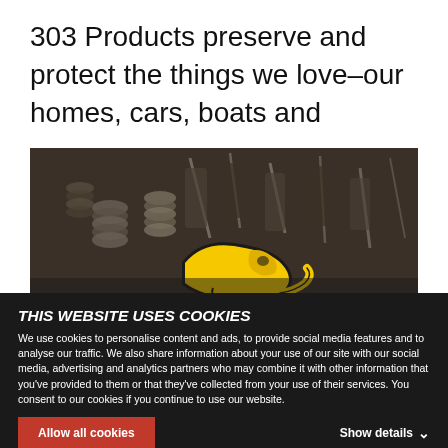303 Products preserve and protect the things we love–our homes, cars, boats and
[Figure (photo): Close-up photo of mechanical engine parts (springs, coils, metal components) with a yellow 303 Products panther/cat logo overlaid in the lower center]
THIS WEBSITE USES COOKIES
We use cookies to personalise content and ads, to provide social media features and to analyse our traffic. We also share information about your use of our site with our social media, advertising and analytics partners who may combine it with other information that you've provided to them or that they've collected from your use of their services. You consent to our cookies if you continue to use our website.
Allow all cookies
Show details